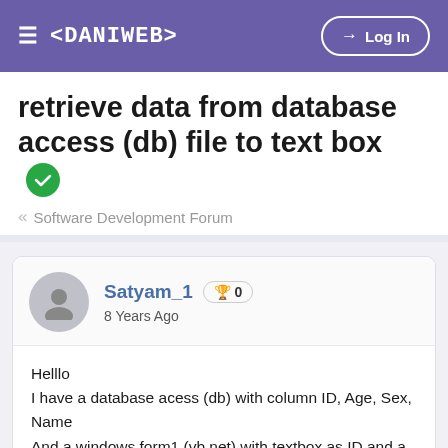≡ <DANIWEB>   → Log In
retrieve data from database access (db) file to text box ✓
« Software Development Forum
Satyam_1  🏆 0
8 Years Ago
Helllo
I have a database acess (db) with column ID, Age, Sex, Name
And a windows form1 (vb.net) with textbox as ID and a button "search". A second form2 having textboxes as ID, Age,Sex. Name
When i enter ID no. with search buuton it should retrieve data from db to various textboxes in form2. i don't know